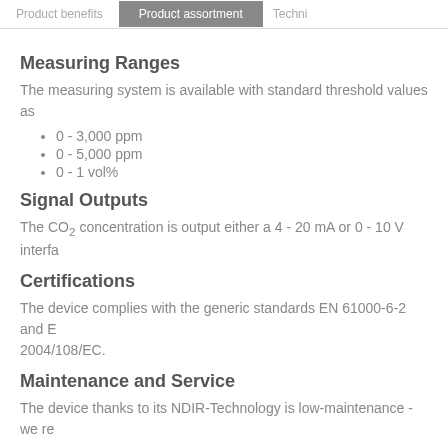Product benefits | Product assortment | Techni...
Measuring Ranges
The measuring system is available with standard threshold values as
0 - 3,000 ppm
0 - 5,000 ppm
0 - 1 vol%
Signal Outputs
The CO2 concentration is output either a 4 - 20 mA or 0 - 10 V interfa
Certifications
The device complies with the generic standards EN 61000-6-2 and E 2004/108/EC.
Maintenance and Service
The device thanks to its NDIR-Technology is low-maintenance - we re
For more details, please refer to the  technical data or ask our  cont